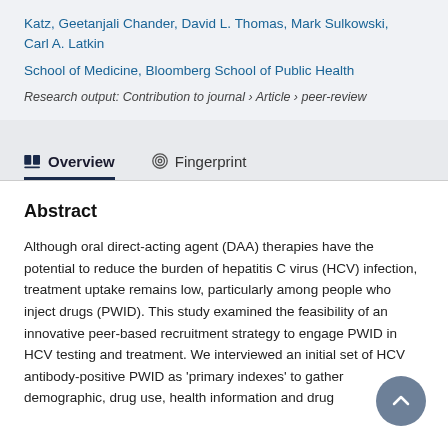Katz, Geetanjali Chander, David L. Thomas, Mark Sulkowski, Carl A. Latkin
School of Medicine, Bloomberg School of Public Health
Research output: Contribution to journal › Article › peer-review
Overview
Fingerprint
Abstract
Although oral direct-acting agent (DAA) therapies have the potential to reduce the burden of hepatitis C virus (HCV) infection, treatment uptake remains low, particularly among people who inject drugs (PWID). This study examined the feasibility of an innovative peer-based recruitment strategy to engage PWID in HCV testing and treatment. We interviewed an initial set of HCV antibody-positive PWID as 'primary indexes' to gather demographic, drug use, health information and drug